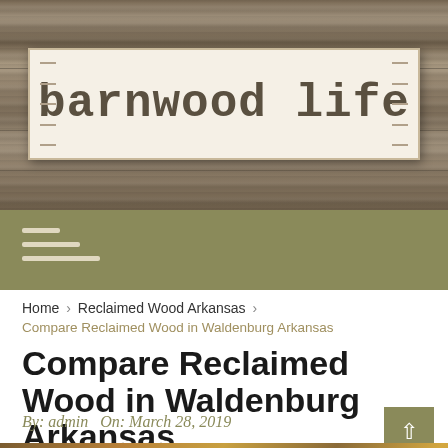barnwood life
Home › Reclaimed Wood Arkansas ›
Compare Reclaimed Wood in Waldenburg Arkansas
Compare Reclaimed Wood in Waldenburg Arkansas
By: admin  On: March 28, 2019
Many